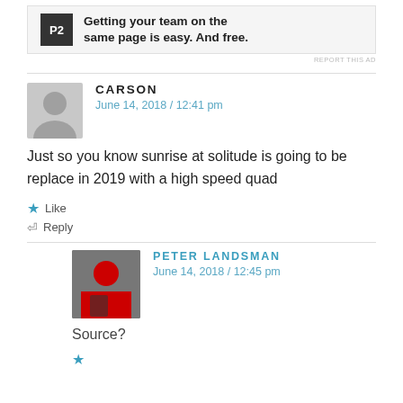[Figure (screenshot): Advertisement banner for P2 app with logo and text 'Getting your team on the same page is easy. And free.']
REPORT THIS AD
CARSON
June 14, 2018 / 12:41 pm
Just so you know sunrise at solitude is going to be replace in 2019 with a high speed quad
Like
Reply
PETER LANDSMAN
June 14, 2018 / 12:45 pm
Source?